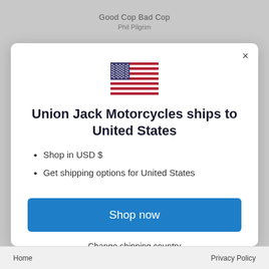Good Cop Bad Cop
Phil Pilgrim
[Figure (illustration): US flag emoji/icon displayed centered in modal dialog]
Union Jack Motorcycles ships to United States
Shop in USD $
Get shipping options for United States
Shop now
Change shipping country
Home    Privacy Policy